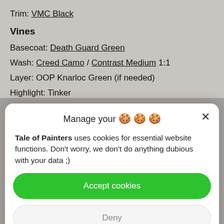Trim: VMC Black
Vines
Basecoat: Death Guard Green
Wash: Creed Camo / Contrast Medium 1:1
Layer: OOP Knarloc Green (if needed)
Manage your 🍪🍪🍪
Tale of Painters uses cookies for essential website functions. Don't worry, we don't do anything dubious with your data ;)
Accept cookies
Deny
View preferences